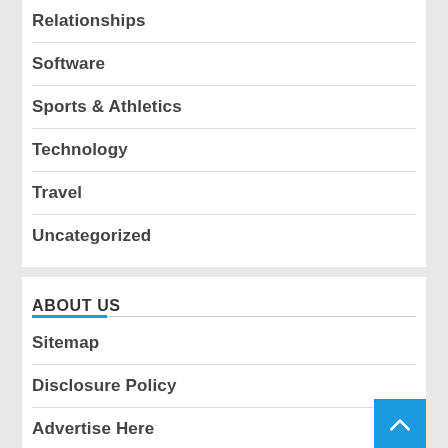Relationships
Software
Sports & Athletics
Technology
Travel
Uncategorized
ABOUT US
Sitemap
Disclosure Policy
Advertise Here